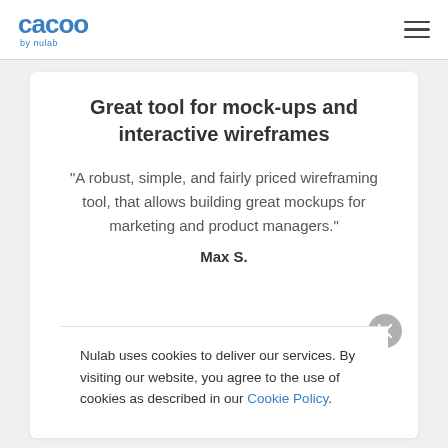cacoo by nulab
Great tool for mock-ups and interactive wireframes
“A robust, simple, and fairly priced wireframing tool, that allows building great mockups for marketing and product managers.”
Max S.
Nulab uses cookies to deliver our services. By visiting our website, you agree to the use of cookies as described in our Cookie Policy.